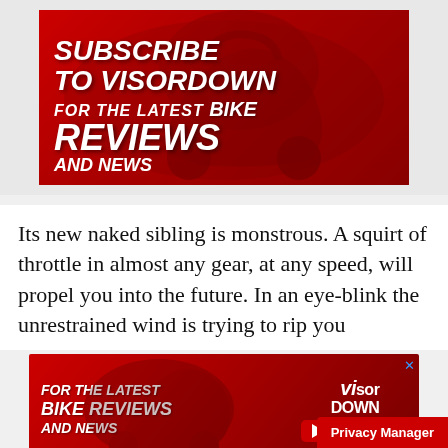[Figure (illustration): Red advertisement banner for Visordown YouTube channel. White bold italic text reads 'SUBSCRIBE TO VISORDOWN FOR THE LATEST BIKE REVIEWS AND NEWS' on a dark red background with a motorcycle racer silhouette.]
Its new naked sibling is monstrous. A squirt of throttle in almost any gear, at any speed, will propel you into the future. In an eye-blink the unrestrained wind is trying to rip you
[Figure (illustration): Red advertisement banner for Visordown YouTube channel. White bold italic text reads 'FOR THE LATEST BIKE REVIEWS AND NEWS' on the left, Visordown logo and YouTube button on the right.]
Privacy Manager